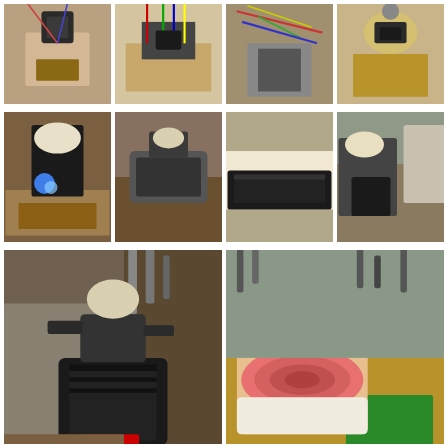[Figure (photo): Grid of 8 small photos (top 2 rows, 4 each) and 2 large photos (bottom row) showing robotic/mechanical sculptures made from mixed media materials on wooden bases, photographed in a workshop/studio environment.]
[Figure (photo): Top row photo 1: Mechanical robot sculpture on wood base, wires and components.]
[Figure (photo): Top row photo 2: Mechanical sculpture with colorful wires on wood base.]
[Figure (photo): Top row photo 3: Close-up wires and components.]
[Figure (photo): Top row photo 4: Small robot figure on wooden block.]
[Figure (photo): Middle row photo 1: Robot sculpture with blue sparks/light in workshop.]
[Figure (photo): Middle row photo 2: Robot sculpture on wooden base in studio.]
[Figure (photo): Middle row photo 3: Black textured material/foam component.]
[Figure (photo): Middle row photo 4: Robot sculpture in cluttered workshop.]
[Figure (photo): Bottom row left: Large robot sculpture with black textured cube base in workshop.]
[Figure (photo): Bottom row right: Robot sculpture on pink/red wood-grain base on workbench with green cutting mat.]